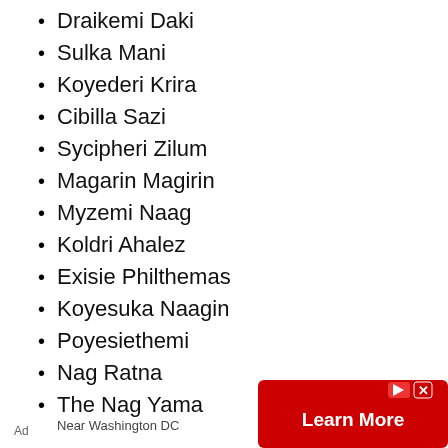Draikemi Daki
Sulka Mani
Koyederi Krira
Cibilla Sazi
Sycipheri Zilum
Magarin Magirin
Myzemi Naag
Koldri Ahalez
Exisie Philthemas
Koyesuka Naagin
Poyesiethemi
Nag Ratna
The Nag Yama
Near Washington DC
Ad
[Figure (other): Red advertisement banner with 'Learn More' button and close/play icons]